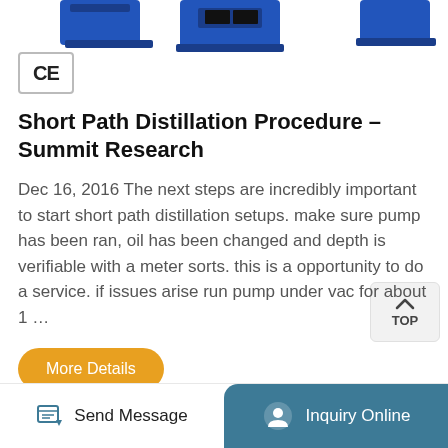[Figure (photo): Top portion showing blue laboratory/distillation equipment devices, partially cropped at top]
[Figure (logo): CE certification mark badge in a rounded rectangle border]
Short Path Distillation Procedure - Summit Research
Dec 16, 2016 The next steps are incredibly important to start short path distillation setups. make sure pump has been ran, oil has been changed and depth is verifiable with a meter sorts. this is a opportunity to do a service. if issues arise run pump under vac for about 1 ...
Send Message   Inquiry Online